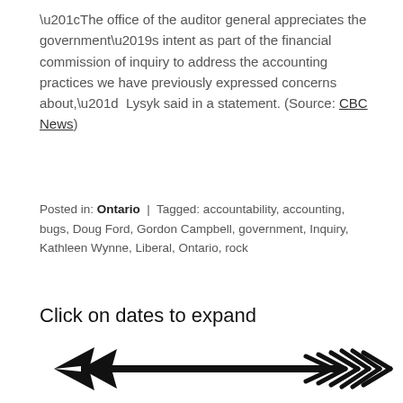“The office of the auditor general appreciates the government’s intent as part of the financial commission of inquiry to address the accounting practices we have previously expressed concerns about,”  Lysyk said in a statement. (Source: CBC News)
Posted in: Ontario | Tagged: accountability, accounting, bugs, Doug Ford, Gordon Campbell, government, Inquiry, Kathleen Wynne, Liberal, Ontario, rock
Click on dates to expand
[Figure (illustration): A decorative double-headed arrow pointing left, with feather/chevron details on the right end, rendered in black.]